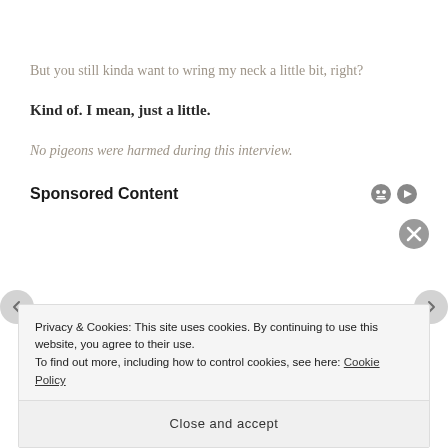But you still kinda want to wring my neck a little bit, right?
Kind of. I mean, just a little.
No pigeons were harmed during this interview.
Sponsored Content
Privacy & Cookies: This site uses cookies. By continuing to use this website, you agree to their use.
To find out more, including how to control cookies, see here: Cookie Policy
Close and accept